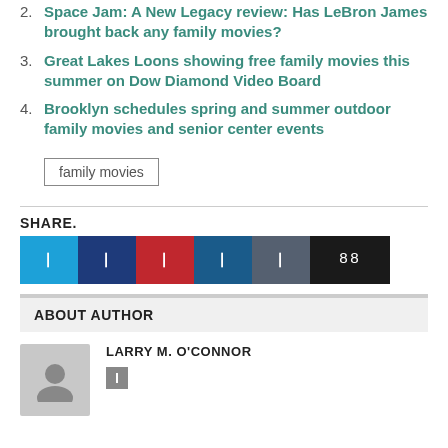2. Space Jam: A New Legacy review: Has LeBron James brought back any family movies?
3. Great Lakes Loons showing free family movies this summer on Dow Diamond Video Board
4. Brooklyn schedules spring and summer outdoor family movies and senior center events
family movies
SHARE.
[Figure (other): Row of social share buttons: Twitter (blue), Facebook (dark blue), Pinterest (red), LinkedIn (blue), Reddit (dark gray), count (black, showing 88)]
ABOUT AUTHOR
LARRY M. O'CONNOR